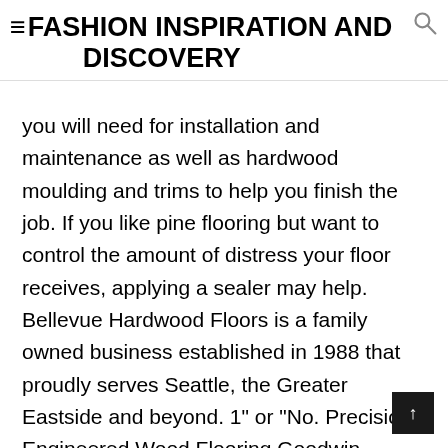≡FASHION INSPIRATION AND DISCOVERY
you will need for installation and maintenance as well as hardwood moulding and trims to help you finish the job. If you like pine flooring but want to control the amount of distress your floor receives, applying a sealer may help. Bellevue Hardwood Floors is a family owned business established in 1988 that proudly serves Seattle, the Greater Eastside and beyond. 1" or "No. Precision Engineered Wood Flooring Goodwin Company's precision engineered (PE) wood flooring is made from the same River-